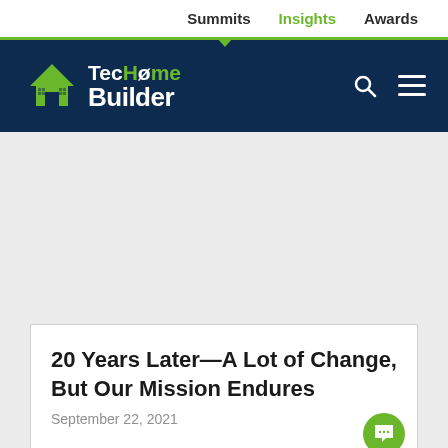Summits   Insights   Awards
[Figure (logo): TecHome Builder logo on dark navy header bar with search and hamburger menu icons]
20 Years Later—A Lot of Change, But Our Mission Endures
September 22, 2021